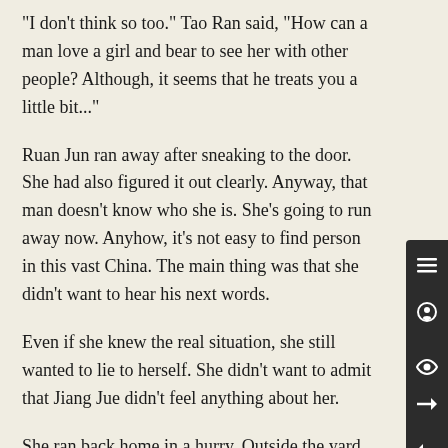"I don't think so too." Tao Ran said, "How can a man love a girl and bear to see her with other people? Although, it seems that he treats you a little bit..."
Ruan Jun ran away after sneaking to the door. She had also figured it out clearly. Anyway, that man doesn't know who she is. She's going to run away now. Anyhow, it's not easy to find person in this vast China. The main thing was that she didn't want to hear his next words.
Even if she knew the real situation, she still wanted to lie to herself. She didn't want to admit that Jiang Jue didn't feel anything about her.
She ran back home in a hurry. Outside the yard, she could see that the light at home was still on. She didn't know whether her parents were still asleep or the nanny was doing housework with the light on.